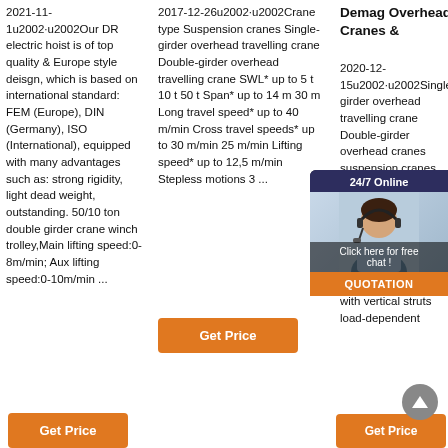2021-11-1u2002·u2002Our DR electric hoist is of top quality & Europe style deisgn, which is based on international standard: FEM (Europe), DIN (Germany), ISO (International), equipped with many advantages such as: strong rigidity, light dead weight, outstanding. 50/10 ton double girder crane winch trolley,Main lifting speed:0-8m/min; Aux lifting speed:0-10m/min ...
Get Price
2017-12-26u2002·u2002Crane type Suspension cranes Single-girder overhead travelling crane Double-girder overhead travelling crane SWL* up to 5 t 10 t 50 t Span* up to 14 m 30 m Long travel speed* up to 40 m/min Cross travel speeds* up to 30 m/min 25 m/min Lifting speed* up to 12,5 m/min Stepless motions 3 ...
Get Price
Demag Overhead Cranes &
2020-12-15u2002·u2002Single-girder overhead travelling crane Double-girder overhead cranes Suspension cranes 213555· Universal Cranes. 20.03.20... balance distribution of forces and the crane girder remains free of any torsion. Thanks to its V-type design with vertical struts load-dependent
[Figure (photo): 24/7 Online chat widget showing a woman with headset and 'Click here for free chat!' text, with an orange QUOTATION button]
Get Price